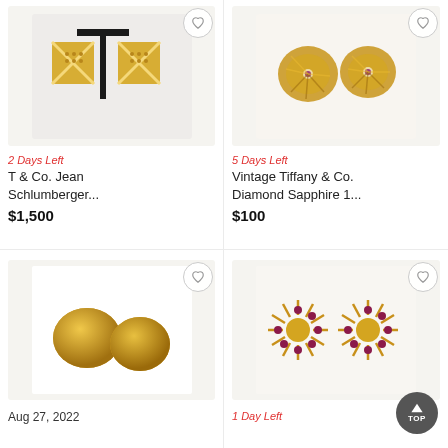[Figure (photo): Gold and diamond X-pattern earrings by T & Co. Jean Schlumberger displayed on a black T-bar stand]
2 Days Left
T & Co. Jean Schlumberger...
$1,500
[Figure (photo): Vintage gold swirl/knot earrings with small gemstone centers]
5 Days Left
Vintage Tiffany & Co. Diamond Sapphire 1...
$100
[Figure (photo): Two round gold dome stud earrings on white background]
Aug 27, 2022
[Figure (photo): Gold sunburst/firework style earrings with ruby and diamond accents]
1 Day Left